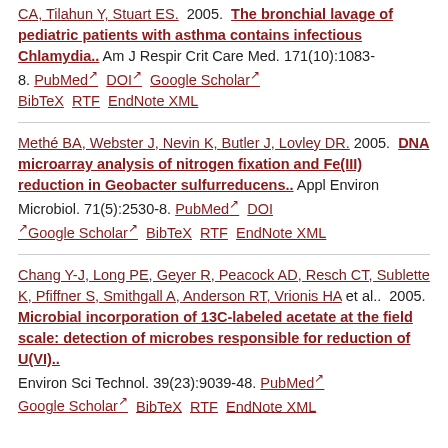CA, Tilahun Y, Stuart ES. 2005. The bronchial lavage of pediatric patients with asthma contains infectious Chlamydia.. Am J Respir Crit Care Med. 171(10):1083-8. PubMed DOI Google Scholar BibTeX RTF EndNote XML
Methé BA, Webster J, Nevin K, Butler J, Lovley DR. 2005. DNA microarray analysis of nitrogen fixation and Fe(III) reduction in Geobacter sulfurreducens.. Appl Environ Microbiol. 71(5):2530-8. PubMed DOI Google Scholar BibTeX RTF EndNote XML
Chang Y-J, Long PE, Geyer R, Peacock AD, Resch CT, Sublette K, Pfiffner S, Smithgall A, Anderson RT, Vrionis HA et al.. 2005. Microbial incorporation of 13C-labeled acetate at the field scale: detection of microbes responsible for reduction of U(VI).. Environ Sci Technol. 39(23):9039-48. PubMed Google Scholar BibTeX RTF EndNote XML